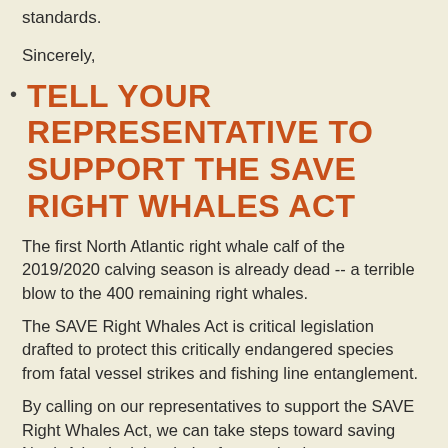standards.
Sincerely,
TELL YOUR REPRESENTATIVE TO SUPPORT THE SAVE RIGHT WHALES ACT
The first North Atlantic right whale calf of the 2019/2020 calving season is already dead -- a terrible blow to the 400 remaining right whales.
The SAVE Right Whales Act is critical legislation drafted to protect this critically endangered species from fatal vessel strikes and fishing line entanglement.
By calling on our representatives to support the SAVE Right Whales Act, we can take steps toward saving North Atlantic right whales from extinction.
WE MUST BLOCK THE